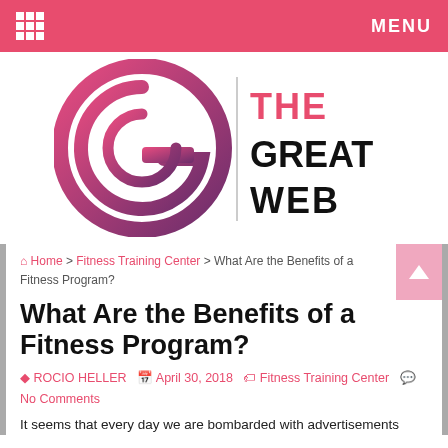MENU
[Figure (logo): The Great Web logo — circular G icon in pink/magenta gradient with THE GREAT WEB text in bold black letters]
Home > Fitness Training Center > What Are the Benefits of a Fitness Program?
What Are the Benefits of a Fitness Program?
ROCIO HELLER  April 30, 2018  Fitness Training Center  No Comments
It seems that every day we are bombarded with advertisements